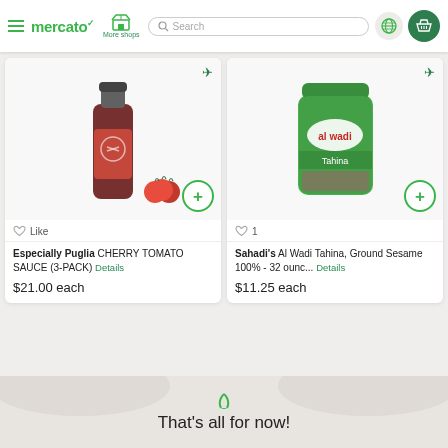[Figure (screenshot): Mercato grocery delivery website header with hamburger menu, mercato logo, More shops icon, search bar, globe icon, and basket icon]
[Figure (photo): Product image: dark bottle of Cherry Tomato Sauce with red tomatoes beside it on white background]
Like
Especially Puglia CHERRY TOMATO SAUCE (3-PACK) Details
$21.00 each
[Figure (photo): Product image: green jar of Al Wadi Tahina Ground Sesame 100% - 32 ounc on white background]
♥ 1
Sahadi's Al Wadi Tahina, Ground Sesame 100% - 32 ounc... Details
$11.25 each
That's all for now!